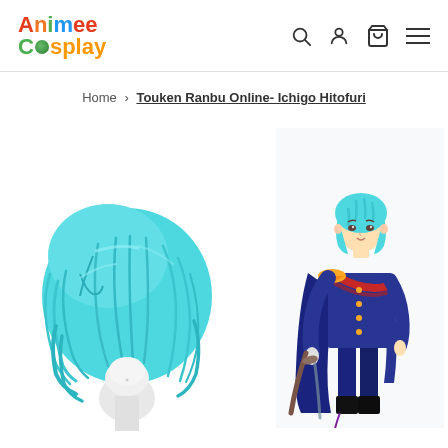Animee Cosplay — navigation header with logo, search, account, cart, and menu icons
Home › Touken Ranbu Online- Ichigo Hitofuri
[Figure (photo): Cosplay wig product photo: short aqua/teal blue wig on a white mannequin head, side view]
[Figure (illustration): Anime character illustration: Ichigo Hitofuri from Touken Ranbu Online, male character with short teal hair wearing a dark navy military-style uniform with gold buttons and red sash, holding a sword]